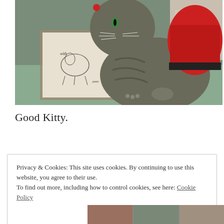[Figure (photo): A tabby cat wearing a red and black outfit or costume, sitting next to a framed illustration/drawing of a cat. The cat is on a light green surface with some items visible in the background.]
Good Kitty.
Privacy & Cookies: This site uses cookies. By continuing to use this website, you agree to their use.
To find out more, including how to control cookies, see here: Cookie Policy
[Figure (photo): Partial view of additional photos at the bottom of the page.]